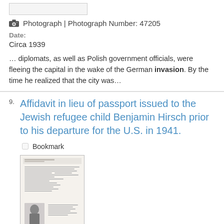[Figure (other): Small thumbnail placeholder image at top]
Photograph | Photograph Number: 47205
Date:
Circa 1939
… diplomats, as well as Polish government officials, were fleeing the capital in the wake of the German invasion. By the time he realized that the city was…
9. Affidavit in lieu of passport issued to the Jewish refugee child Benjamin Hirsch prior to his departure for the U.S. in 1941.
Bookmark
[Figure (photo): Scanned document page showing an affidavit with a small passport-style photo of a child at bottom left]